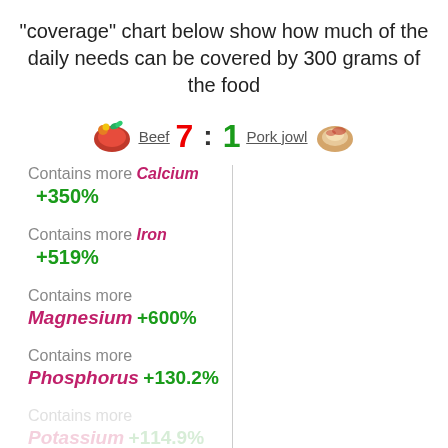"coverage" chart below show how much of the daily needs can be covered by 300 grams of the food
[Figure (infographic): Beef vs Pork jowl comparison score: Beef 7 : 1 Pork jowl, with food images on each side]
Contains more Calcium +350%
Contains more Iron +519%
Contains more Magnesium +600%
Contains more Phosphorus +130.2%
Contains more Potassium +114.9%
Contains more Zinc